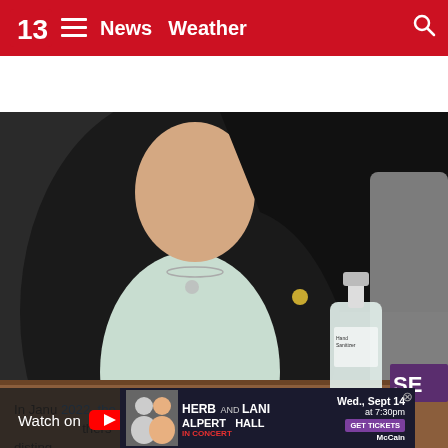13 News  ≡  News  Weather  🔍
[Figure (screenshot): Video still showing a person in a dark blazer with a necklace seated at a wooden table with a hand sanitizer bottle; a partial purple nameplate reading 'SE' is visible at the right. A 'Watch on YouTube' overlay appears at the bottom-left of the video.]
In January 2022, the Arizona Senate provided joined the Bona F[ide] ... others distinguish ...